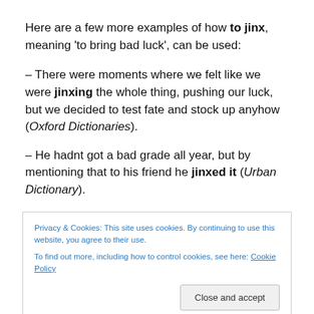Here are a few more examples of how to jinx, meaning ‘to bring bad luck’, can be used:
– There were moments where we felt like we were jinxing the whole thing, pushing our luck, but we decided to test fate and stock up anyhow (Oxford Dictionaries).
– He hadnt got a bad grade all year, but by mentioning that to his friend he jinxed it (Urban Dictionary).
Don’t jinx it by talking about it (Wordreference.com)
Privacy & Cookies: This site uses cookies. By continuing to use this website, you agree to their use.
To find out more, including how to control cookies, see here: Cookie Policy
Close and accept
Advertisements